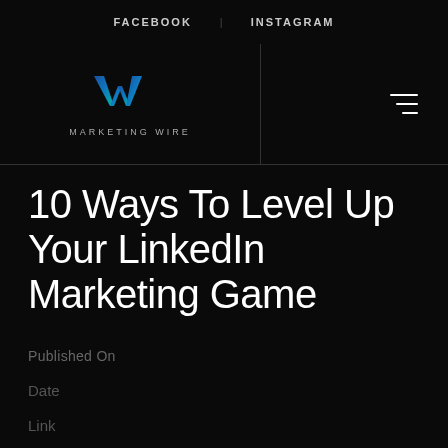FACEBOOK  INSTAGRAM
[Figure (logo): Marketing Wire logo: stylized W in blue and teal gradient, with text MARKETING WIRE below]
10 Ways To Level Up Your LinkedIn Marketing Game
Published On
Date
Link